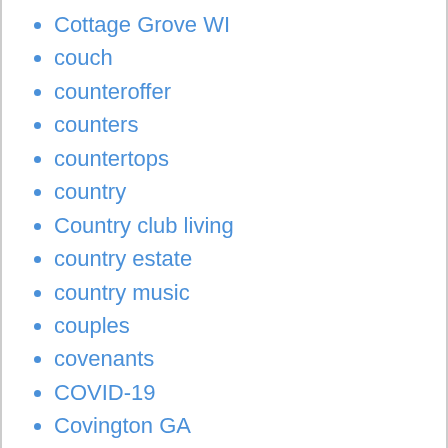Cottage Grove WI
couch
counteroffer
counters
countertops
country
Country club living
country estate
country music
couples
covenants
COVID-19
Covington GA
Covington VA
CPH:RADH
craft room
Craftsman
craftsman home
Crane Beach Barbados